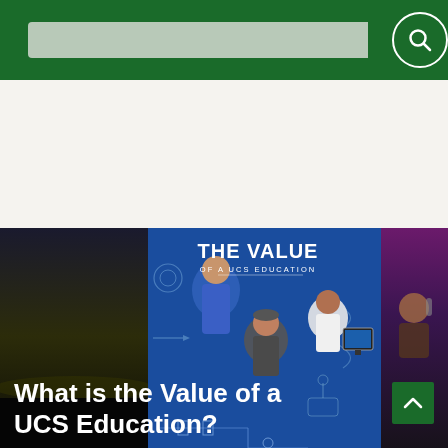UCS Website header with search bar
[Figure (illustration): Promotional banner image reading 'THE VALUE OF A UCS EDUCATION' on a blue background with illustrated STEM/engineering icons and three people: a woman in blue dress, a man in work uniform, and a woman in a white lab coat at a computer. Flanked by dark photographic strips on left and right.]
[Figure (illustration): Green back-to-top arrow button]
What is the Value of a UCS Education?